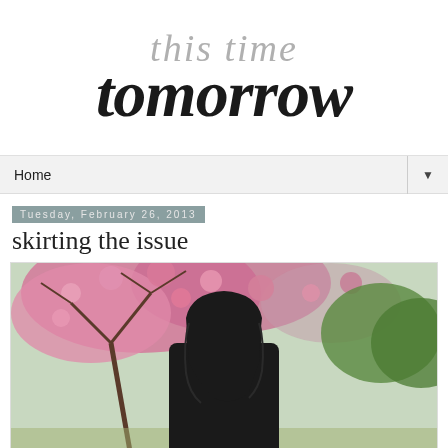this time tomorrow
Home
Tuesday, February 26, 2013
skirting the issue
[Figure (photo): A woman with dark shoulder-length hair and sunglasses wearing a black turtleneck with a star necklace, standing in front of blooming pink cherry blossom trees and green foliage in the background.]